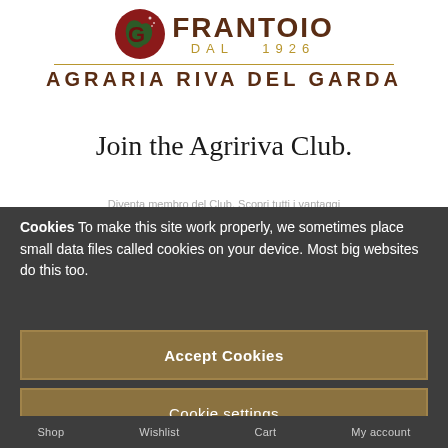[Figure (logo): Frantoio dal 1926 - Agraria Riva del Garda circular logo with olive branch and stylized letter, with brand name text]
Join the Agririva Club.
Cookies To make this site work properly, we sometimes place small data files called cookies on your device. Most big websites do this too.
Accept Cookies
Cookie settings
Shop   Wishlist   Cart   My account